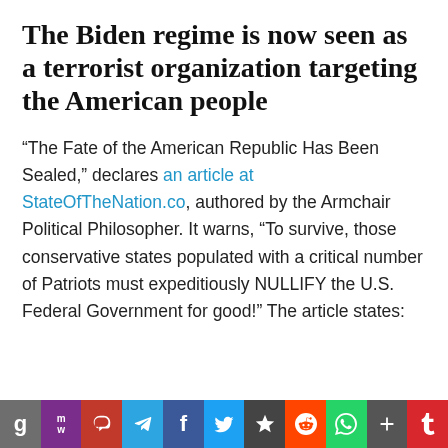The Biden regime is now seen as a terrorist organization targeting the American people
“The Fate of the American Republic Has Been Sealed,” declares an article at StateOfTheNation.co, authored by the Armchair Political Philosopher. It warns, “To survive, those conservative states populated with a critical number of Patriots must expeditiously NULLIFY the U.S. Federal Government for good!” The article states:
[Figure (other): Social sharing bar at the bottom with icons for Gab, MeWe, Parler, Telegram, Facebook, Twitter, StumbleUpon, Reddit, WhatsApp, AddThis, and Tumblr]